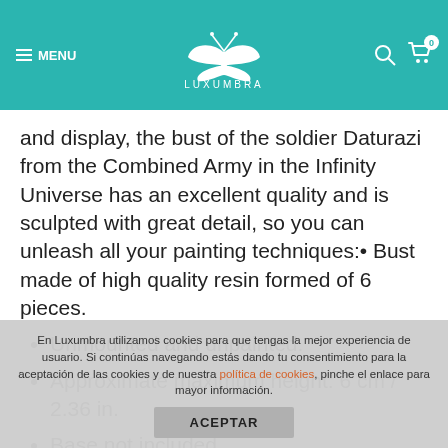MENU | LUXUMBRA | [search] [cart 0]
and display, the bust of the soldier Daturazi from the Combined Army in the Infinity Universe has an excellent quality and is sculpted with great detail, so you can unleash all your painting techniques:• Bust made of high quality resin formed of 6 pieces.
Unmounted and unpainted.
Approximate maximum height: 6 cm / 2.36 in.
Base not included.
En Luxumbra utilizamos cookies para que tengas la mejor experiencia de usuario. Si continúas navegando estás dando tu consentimiento para la aceptación de las cookies y de nuestra política de cookies, pinche el enlace para mayor información.
ACEPTAR